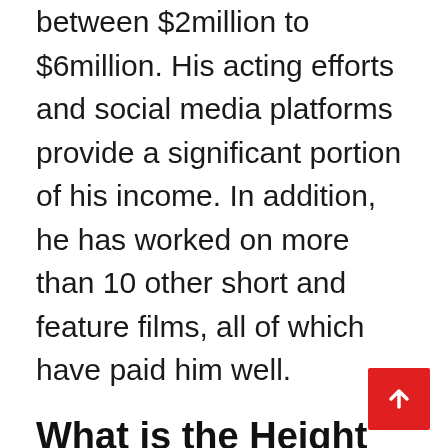Dante Colle has an estimated net worth of between $2million to $6million. His acting efforts and social media platforms provide a significant portion of his income. In addition, he has worked on more than 10 other short and feature films, all of which have paid him well.
What is the Height and Weight of Dante Colle?